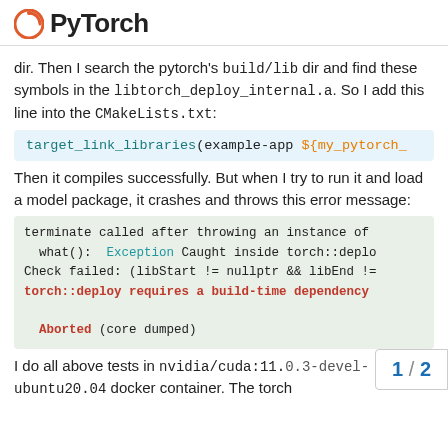PyTorch
dir. Then I search the pytorch's build/lib dir and find these symbols in the libtorch_deploy_internal.a. So I add this line into the CMakeLists.txt:
target_link_libraries(example-app ${my_pytorch_
Then it compiles successfully. But when I try to run it and load a model package, it crashes and throws this error message:
terminate called after throwing an instance of
  what():  Exception Caught inside torch::deplo
Check failed: (libStart != nullptr && libEnd !=
torch::deploy requires a build-time dependency

Aborted (core dumped)
I do all above tests in nvidia/cuda:11.0.3-devel-ubuntu20.04 docker container. The torch
1 / 2